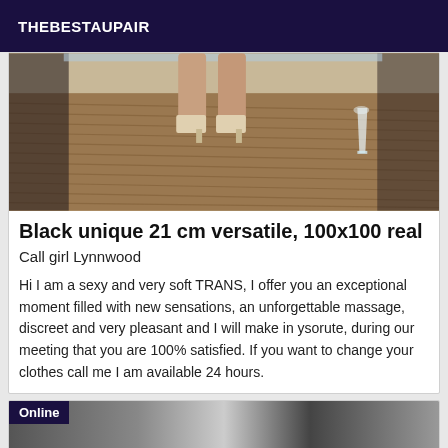THEBESTAUPAIR
[Figure (photo): Photo showing legs in high heels on a wooden deck with a champagne glass]
Black unique 21 cm versatile, 100x100 real
Call girl Lynnwood
Hi I am a sexy and very soft TRANS, I offer you an exceptional moment filled with new sensations, an unforgettable massage, discreet and very pleasant and I will make in ysorute, during our meeting that you are 100% satisfied. If you want to change your clothes call me I am available 24 hours.
[Figure (photo): Partial photo with Online badge overlay]